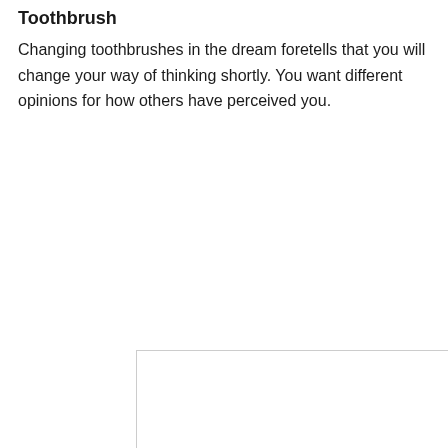Toothbrush
Changing toothbrushes in the dream foretells that you will change your way of thinking shortly. You want different opinions for how others have perceived you.
[Figure (screenshot): An advertisement placeholder box (white box with gray border) overlapping with a dark video player overlay. The video player shows 'THIS DAY IN HISTORY' text, a play button icon made of blue outlined triangles, 'AUGUST' label, a circular logo in the top-left, and a muted speaker icon in the bottom-left.]